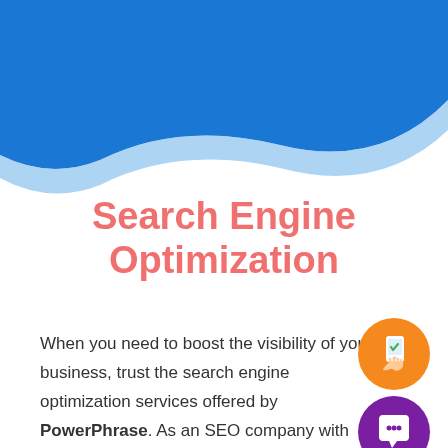[Figure (illustration): Blue wave swoosh decorative header background covering the top portion of the page, with a lighter blue secondary wave beneath the main dark blue wave.]
Search Engine Optimization
When you need to boost the visibility of your business, trust the search engine optimization services offered by PowerPhrase. As an SEO company with
[Figure (illustration): Two circular icons on the right side: an orange circle with a hand holding a smartphone with a green checkmark, and a purple circle with a white chat/speech bubble icon.]